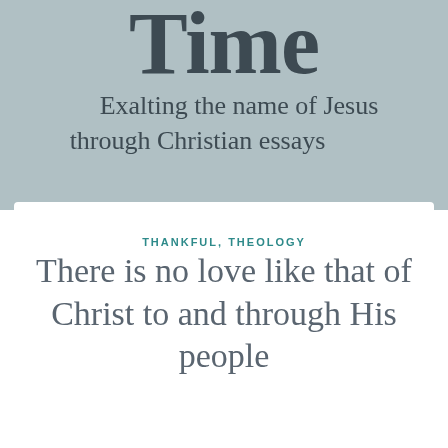Time
Exalting the name of Jesus through Christian essays
THANKFUL, THEOLOGY
There is no love like that of Christ to and through His people